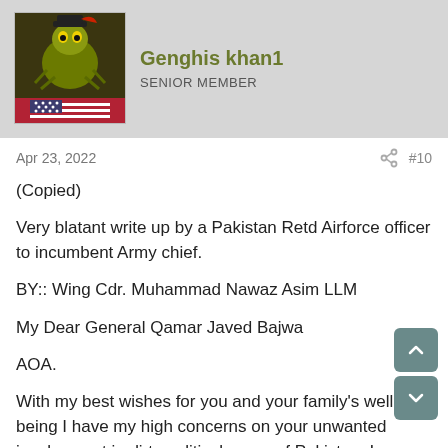Genghis khan1 | SENIOR MEMBER
Apr 23, 2022
#10
(Copied)

Very blatant write up by a Pakistan Retd Airforce officer to incumbent Army chief.

BY:: Wing Cdr. Muhammad Nawaz Asim LLM

My Dear General Qamar Javed Bajwa

AOA.

With my best wishes for you and your family's well being I have my high concerns on your unwanted involvement in dirty political arena of Pakistan. I am a veteran and I retired 22 years